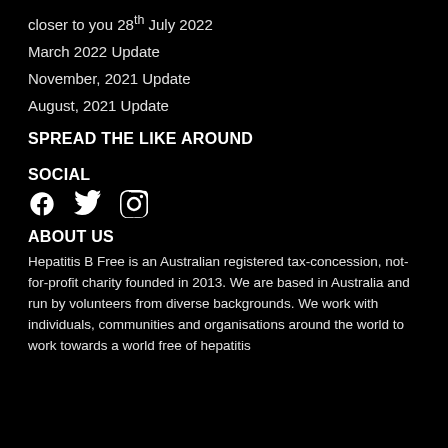closer to you 28th July 2022
March 2022 Update
November, 2021 Update
August, 2021 Update
SPREAD THE LIKE AROUND
SOCIAL
[Figure (illustration): Social media icons: Facebook, Twitter, Instagram]
ABOUT US
Hepatitis B Free is an Australian registered tax-concession, not-for-profit charity founded in 2013. We are based in Australia and run by volunteers from diverse backgrounds. We work with individuals, communities and organisations around the world to work towards a world free of hepatitis